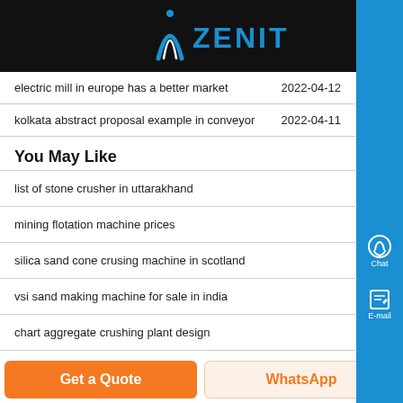ZENIT
electric mill in europe has a better market  2022-04-12
kolkata abstract proposal example in conveyor  2022-04-11
You May Like
list of stone crusher in uttarakhand
mining flotation machine prices
silica sand cone crusing machine in scotland
vsi sand making machine for sale in india
chart aggregate crushing plant design
Get a Quote  WhatsApp